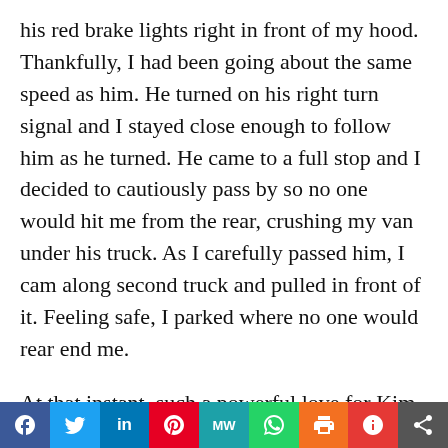his red brake lights right in front of my hood. Thankfully, I had been going about the same speed as him. He turned on his right turn signal and I stayed close enough to follow him as he turned. He came to a full stop and I decided to cautiously pass by so no one would hit me from the rear, crushing my van under his truck. As I carefully passed him, I cam along second truck and pulled in front of it. Feeling safe, I parked where no one would rear end me.
At that instant, such a powerful love for Kim Jong-Un's soul and life hit me, and I wept deeply for his salvation. I don't know how long I wept for his soul, but the sound of the 18-wheelers going around me caused me to open my eyes; I looked at the time on my dash, and it said it
[Figure (infographic): Social media sharing bar with icons for Facebook, Twitter, LinkedIn, Pinterest, MeWe, WhatsApp, Print, Parler, and Share]